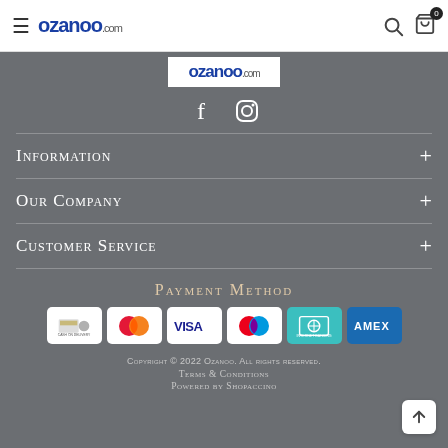ozanoo.com
[Figure (logo): ozanoo.com logo in white box]
[Figure (illustration): Facebook and Instagram social media icons]
Information +
Our Company +
Customer Service +
Payment Method
[Figure (illustration): Payment method icons: Cash on Delivery, Mastercard, Visa, Mastercard (red/blue), Internet Banking, AMEX]
Copyright © 2022 Ozanoo. All rights reserved.
Terms & Conditions
Powered by Shopaccino